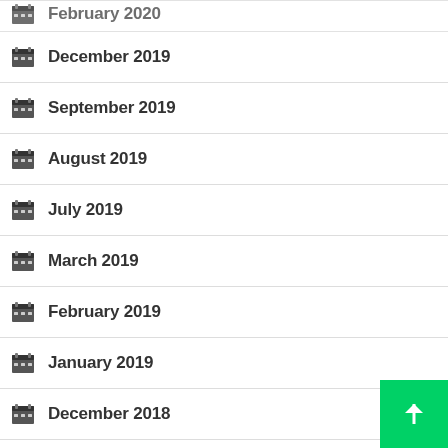February 2020
December 2019
September 2019
August 2019
July 2019
March 2019
February 2019
January 2019
December 2018
November 2018
October 2018
September 2018
August 2018
July 2018